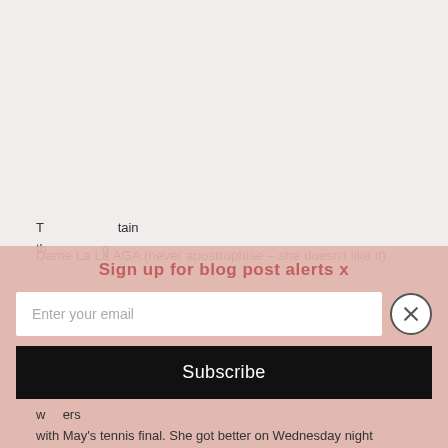Dame La La AGA (never apostrophise – she doesn't like it)
Sign up for blog post alerts x
Enter your email
Subscribe
T...tain th...g...ers w... with May's tennis final. She got better on Wednesday night